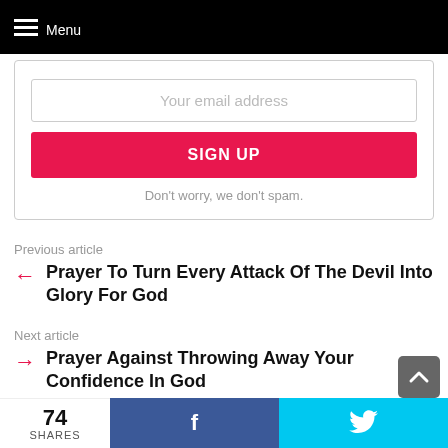Menu
Your email address
SIGN UP
Don't worry, we don't spam.
Previous article
Prayer To Turn Every Attack Of The Devil Into Glory For God
Next article
Prayer Against Throwing Away Your Confidence In God
74 SHARES